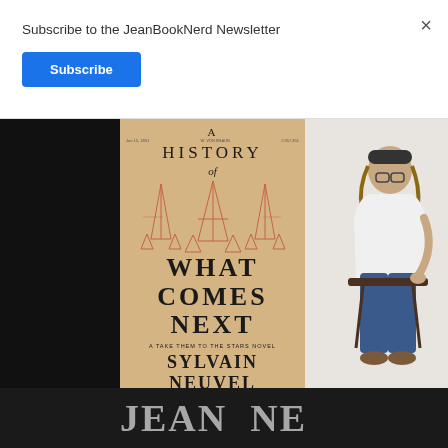Subscribe to the JeanBookNerd Newsletter
Subscribe
[Figure (photo): Book cover of 'A History of What Comes Next' by Sylvain Neuvel, showing rocket blueprint drawings on aged paper background, with large bold serif text. Next to it is a photo of the author sitting on a stool.]
JEAN BOOK NERD